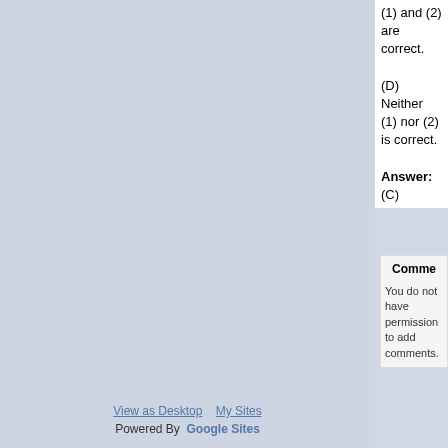(1) and (2) are correct.
(D) Neither (1) nor (2) is correct.
Answer: (C)
Comme
You do not have permission to add comments.
View as Desktop   My Sites
Powered By  Google Sites